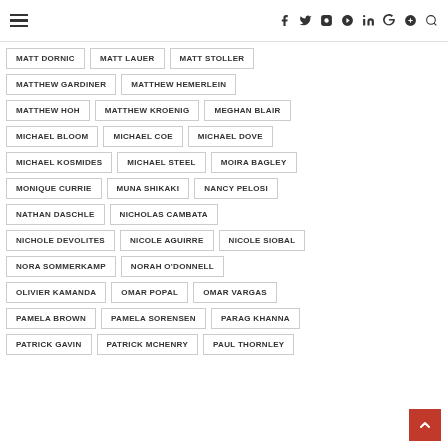Navigation header with hamburger menu and social icons: Facebook, Twitter, Instagram, Pinterest, LinkedIn, Vimeo, Search
MATT DORNIC
MATT LAUER
MATT STOLLER
MATTHEW GARDINER
MATTHEW HEMERLEIN
MATTHEW HOH
MATTHEW KROENIG
MEGHAN BLAIR
MICHAEL BLOOM
MICHAEL COE
MICHAEL DOVE
MICHAEL KOSMIDES
MICHAEL STEEL
MOIRA BAGLEY
MONIQUE CURRIE
MUNA SHIKAKI
NANCY PELOSI
NATHAN DASCHLE
NICHOLAS CAMBATA
NICHOLE DEVOLITES
NICOLE AGUIRRE
NICOLE SIOBAL
NORA SOMMERKAMP
NORAH O'DONNELL
OLIVIER KAMANDA
OMAR POPAL
OMAR VARGAS
PAMELA BROWN
PAMELA SORENSEN
PARAG KHANNA
PATRICK GAVIN
PATRICK MCHENRY
PAUL THORNLEY